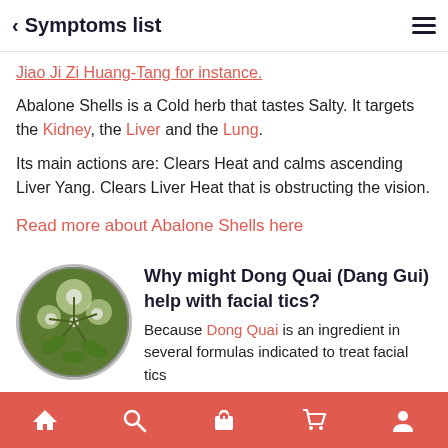< Symptoms list
Jiao Ji Zi Huang-Tang for instance.
Abalone Shells is a Cold herb that tastes Salty. It targets the Kidney, the Liver and the Lung.
Its main actions are: Clears Heat and calms ascending Liver Yang. Clears Liver Heat that is obstructing the vision.
Read more about Abalone Shells here
Why might Dong Quai (Dang Gui) help with facial tics?
Because Dong Quai is an ingredient in several formulas indicated to treat facial tics
Navigation: Home, Search, Shop, Cart, Profile